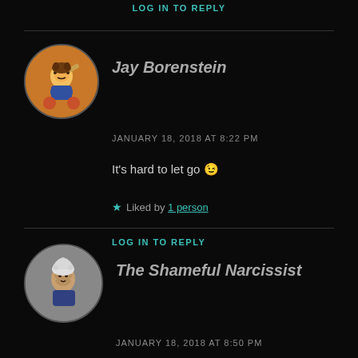LOG IN TO REPLY
Jay Borenstein
JANUARY 18, 2018 AT 8:22 PM
It's hard to let go 😉
★ Liked by 1 person
LOG IN TO REPLY
The Shameful Narcissist
JANUARY 18, 2018 AT 8:50 PM